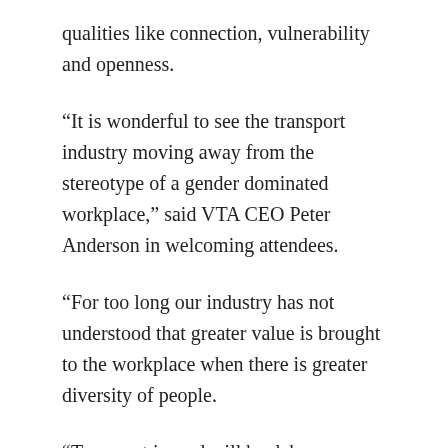qualities like connection, vulnerability and openness.
“It is wonderful to see the transport industry moving away from the stereotype of a gender dominated workplace,” said VTA CEO Peter Anderson in welcoming attendees.
“For too long our industry has not understood that greater value is brought to the workplace when there is greater diversity of people.
“Transport is, and will be, labour intensive for quite some time yet. People are the hardest resource to manage. It is people that makes our industry work and how those people work is what makes our businesses successful. Having an environment where all people are working to